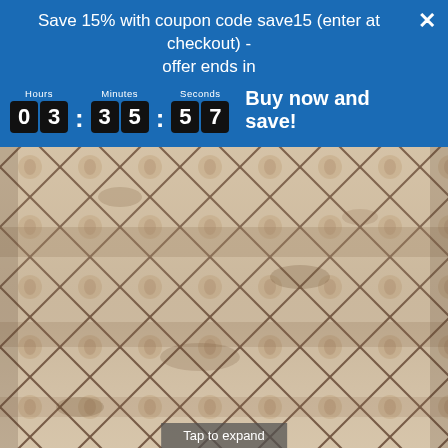Save 15% with coupon code save15 (enter at checkout) - offer ends in
0 3 : 3 5 : 5 7  Buy now and save!
[Figure (photo): Close-up photograph of a decorative area rug with a geometric diamond lattice pattern in brown/taupe tones on a cream/beige background, distressed vintage look.]
Tap to expand